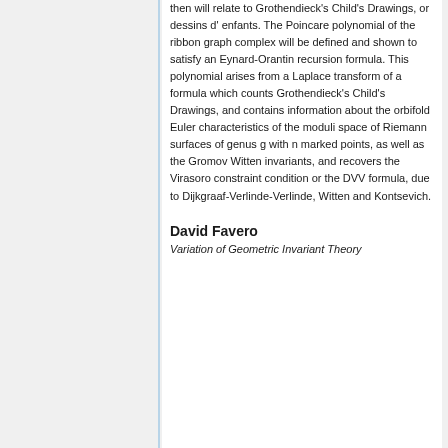then will relate to Grothendieck's Child's Drawings, or dessins d' enfants. The Poincare polynomial of the ribbon graph complex will be defined and shown to satisfy an Eynard-Orantin recursion formula. This polynomial arises from a Laplace transform of a formula which counts Grothendieck's Child's Drawings, and contains information about the orbifold Euler characteristics of the moduli space of Riemann surfaces of genus g with n marked points, as well as the Gromov Witten invariants, and recovers the Virasoro constraint condition or the DVV formula, due to Dijkgraaf-Verlinde-Verlinde, Witten and Kontsevich.
David Favero
Variation of Geometric Invariant Theory